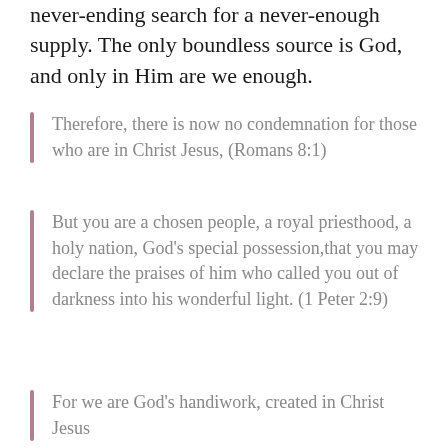never-ending search for a never-enough supply. The only boundless source is God, and only in Him are we enough.
Therefore, there is now no condemnation for those who are in Christ Jesus, (Romans 8:1)
But you are a chosen people, a royal priesthood, a holy nation, God's special possession,that you may declare the praises of him who called you out of darkness into his wonderful light. (1 Peter 2:9)
For we are God's handiwork, created in Christ Jesus